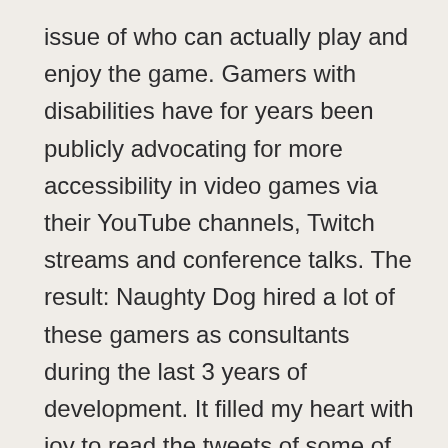issue of who can actually play and enjoy the game. Gamers with disabilities have for years been publicly advocating for more accessibility in video games via their YouTube channels, Twitch streams and conference talks. The result: Naughty Dog hired a lot of these gamers as consultants during the last 3 years of development. It filled my heart with joy to read the tweets of some of the gamers that I've been following for a year now when the embargo was lifted and they could finally for the first time reveal that they actively worked on the game with Naughty Dog.

There is over 60 different accessibility